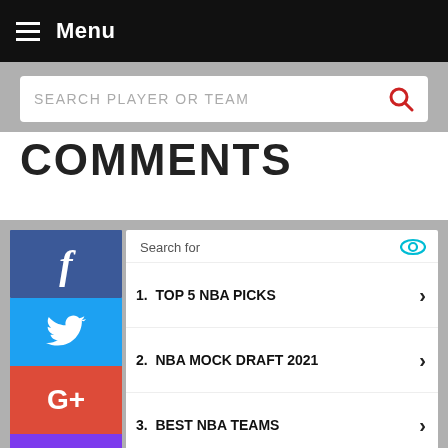Menu
SEARCH PLAYER OR TEAM
COMMENTS
[Figure (screenshot): Social media share buttons: Facebook, Twitter, Google+, Instagram]
Search for
1. TOP 5 NBA PICKS
2. NBA MOCK DRAFT 2021
3. BEST NBA TEAMS
4. UPCOMING NBA MATCHES
5. NIKE END OF SEASON DISCOUNTS
Ad | Local